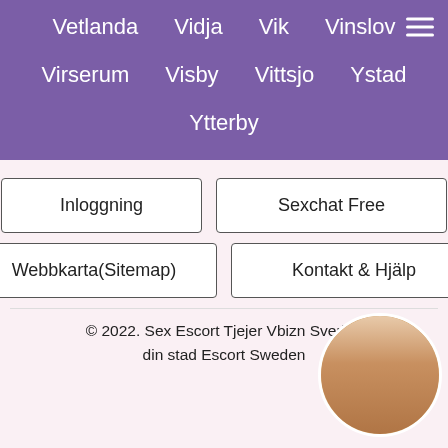Vetlanda
Vidja
Vik
Vinslov
Virserum
Visby
Vittsjo
Ystad
Ytterby
Inloggning
Sexchat Free
Webbkarta(Sitemap)
Kontakt & Hjälp
© 2022. Sex Escort Tjejer Vbizn Sverige din stad Escort Sweden
[Figure (photo): Circular avatar image of a person]